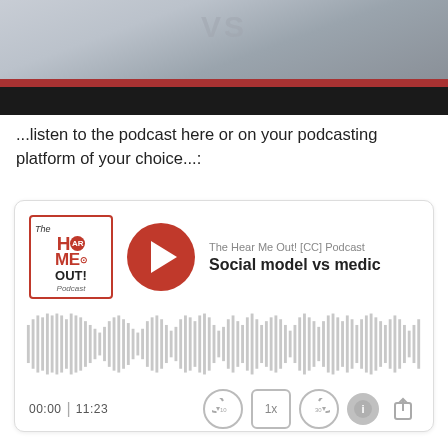[Figure (photo): Partial thumbnail image of a person in a white shirt with a red bar and black bar at the bottom, partially cropped at top]
...listen to the podcast here or on your podcasting platform of your choice...:
[Figure (screenshot): Embedded podcast player widget for 'The Hear Me Out! [CC] Podcast' episode titled 'Social model vs medic...' showing logo, play button, waveform, time 00:00 | 11:23, and playback controls including skip-back 10, 1x speed, skip-forward 30, info, and share buttons]